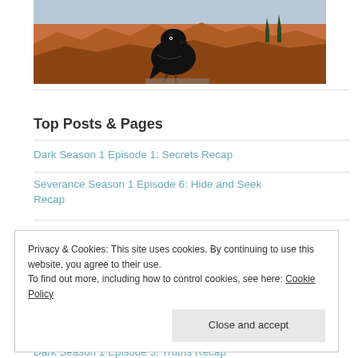[Figure (photo): A black raven perched on a rocky ledge at what appears to be Bryce Canyon, with red rock formations and mountains in the background]
Top Posts & Pages
Dark Season 1 Episode 1: Secrets Recap
Severance Season 1 Episode 6: Hide and Seek Recap
Privacy & Cookies: This site uses cookies. By continuing to use this website, you agree to their use.
To find out more, including how to control cookies, see here: Cookie Policy
Dark Season 1 Episode 5: Truths Recap